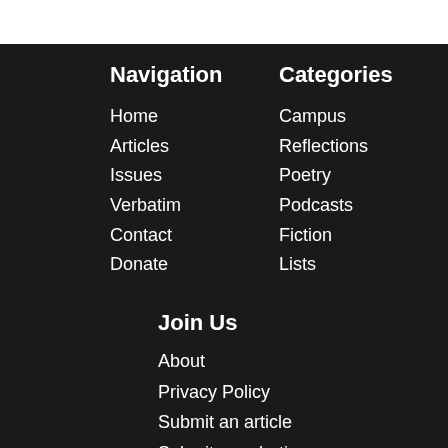Navigation
Home
Articles
Issues
Verbatim
Contact
Donate
Categories
Campus
Reflections
Poetry
Podcasts
Fiction
Lists
Join Us
About
Privacy Policy
Submit an article
Submit a verbatim
[Figure (illustration): Social media icons: Twitter (bird), Facebook (f), Instagram (camera)]